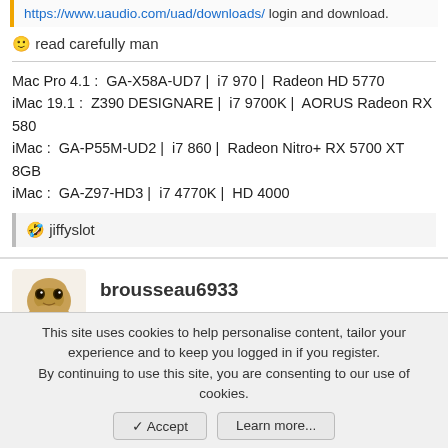https://www.uaudio.com/uad/downloads/ login and download.
🙂 read carefully man
Mac Pro 4.1 :  GA-X58A-UD7 |  i7 970 |  Radeon HD 5770
iMac 19.1 :  Z390 DESIGNARE |  i7 9700K |  AORUS Radeon RX 580
iMac :  GA-P55M-UD2 |  i7 860 |  Radeon Nitro+ RX 5700 XT 8GB
iMac :  GA-Z97-HD3 |  i7 4770K |  HD 4000
🤣 jiffyslot
brousseau6933
Aug 14, 2020
#24,660
This site uses cookies to help personalise content, tailor your experience and to keep you logged in if you register.
By continuing to use this site, you are consenting to our use of cookies.
✓ Accept
Learn more...